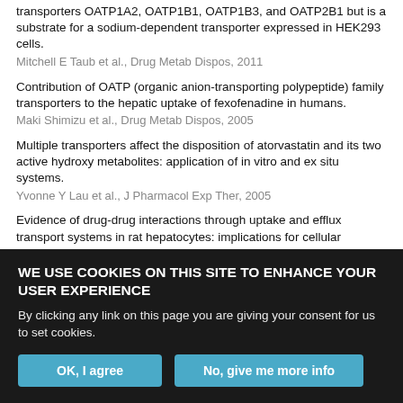transporters OATP1A2, OATP1B1, OATP1B3, and OATP2B1 but is a substrate for a sodium-dependent transporter expressed in HEK293 cells.
Mitchell E Taub et al., Drug Metab Dispos, 2011
Contribution of OATP (organic anion-transporting polypeptide) family transporters to the hepatic uptake of fexofenadine in humans.
Maki Shimizu et al., Drug Metab Dispos, 2005
Multiple transporters affect the disposition of atorvastatin and its two active hydroxy metabolites: application of in vitro and ex situ systems.
Yvonne Y Lau et al., J Pharmacol Exp Ther, 2005
Evidence of drug-drug interactions through uptake and efflux transport systems in rat hepatocytes: implications for cellular concentrations of competing drugs.
Youssef Daali et al., Drug Metab Dispos, 2013
WE USE COOKIES ON THIS SITE TO ENHANCE YOUR USER EXPERIENCE
By clicking any link on this page you are giving your consent for us to set cookies.